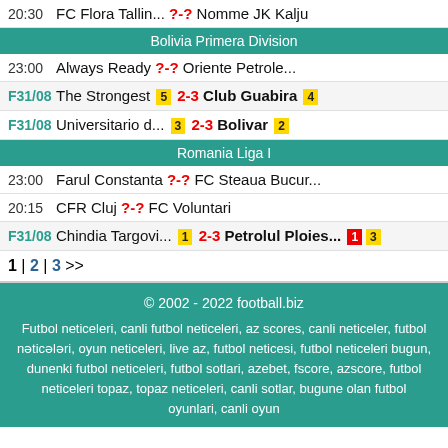20:30 FC Flora Tallin... ?-? Nomme JK Kalju
Bolivia Primera Division
23:00 Always Ready ?-? Oriente Petrole...
F31/08 The Strongest 5 2-3 Club Guabira 4
F31/08 Universitario d... 3 2-3 Bolivar 2
Romania Liga I
23:00 Farul Constanta ?-? FC Steaua Bucur...
20:15 CFR Cluj ?-? FC Voluntari
F31/08 Chindia Targovi... 1 2-3 Petrolul Ploies... 1 3
1 | 2 | 3 >>
© 2002 - 2022 football.biz Futbol neticeleri, canli futbol neticeleri, az scores, canli neticeler, futbol nəticələri, oyun neticeleri, live az, futbol neticesi, futbol neticeleri bugun, dunenki futbol neticeleri, futbol sotlari, azebet, fscore, azscore, futbol neticeleri topaz, topaz neticeleri, canli sotlar, bugune olan futbol oyunlari, canli oyun